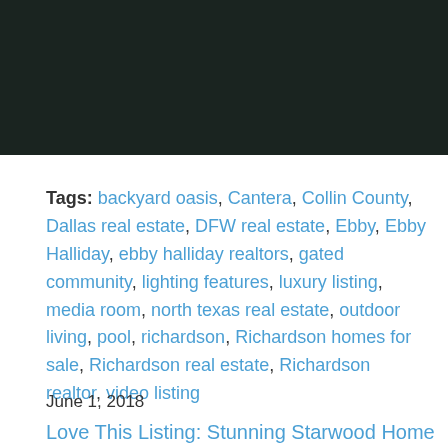[Figure (photo): Dark outdoor night photo, possibly a backyard or exterior scene with dark foliage]
Tags: backyard oasis, Cantera, Collin County, Dallas real estate, DFW real estate, Ebby, Ebby Halliday, ebby halliday realtors, gated community, lighting features, luxury listing, media room, north texas real estate, outdoor living, pool, richardson, Richardson homes for sale, Richardson real estate, Richardson realtor, video listing
June 1, 2018
Love This Listing: Stunning Starwood Home